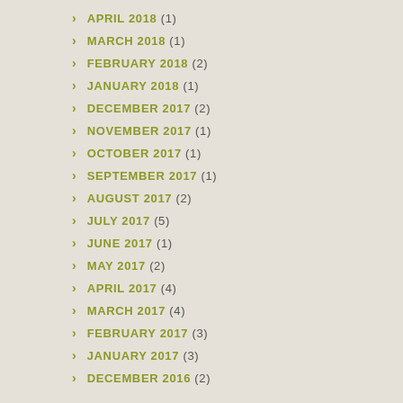APRIL 2018 (1)
MARCH 2018 (1)
FEBRUARY 2018 (2)
JANUARY 2018 (1)
DECEMBER 2017 (2)
NOVEMBER 2017 (1)
OCTOBER 2017 (1)
SEPTEMBER 2017 (1)
AUGUST 2017 (2)
JULY 2017 (5)
JUNE 2017 (1)
MAY 2017 (2)
APRIL 2017 (4)
MARCH 2017 (4)
FEBRUARY 2017 (3)
JANUARY 2017 (3)
DECEMBER 2016 (2)